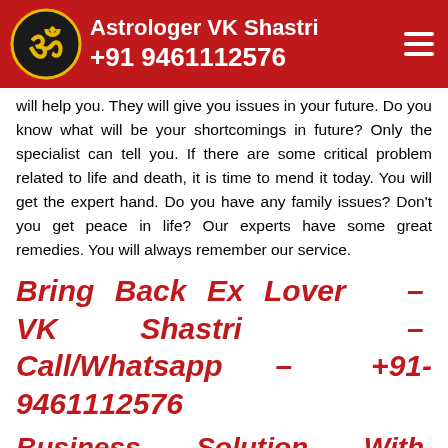Astrologer VK Shastri +91 9461112576
will help you. They will give you issues in your future. Do you know what will be your shortcomings in future? Only the specialist can tell you. If there are some critical problem related to life and death, it is time to mend it today. You will get the expert hand. Do you have any family issues? Don't you get peace in life? Our experts have some great remedies. You will always remember our service.
Bring Back Ex Lover – VK Shastri – Call/Whatsapp – +91-9461112576
Business Solution With Black Magic Specialist